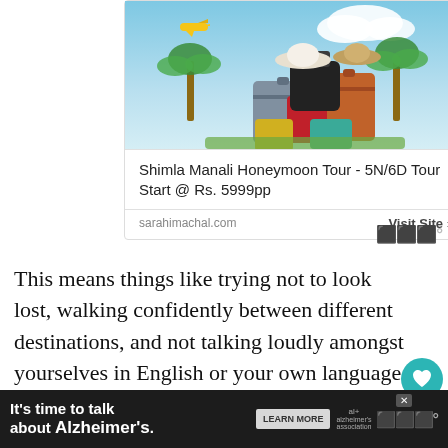[Figure (illustration): Travel advertisement card showing luggage and bags piled up with hats on top, blue sky background with a yellow airplane. Card shows title 'Shimla Manali Honeymoon Tour - 5N/6D Tour Start @ Rs. 5999pp' and URL sarahimachal.com with Visit Site button.]
This means things like trying not to look lost, walking confidently between different destinations, and not talking loudly amongst yourselves in English or your own language while wondering around dodgy areas. As I mentioned earlier, don't wear any expensive,
[Figure (infographic): Bottom banner advertisement: dark background with text 'It's time to talk about Alzheimer's.' with a LEARN MORE button and Alzheimer's Association logo. Close button X visible.]